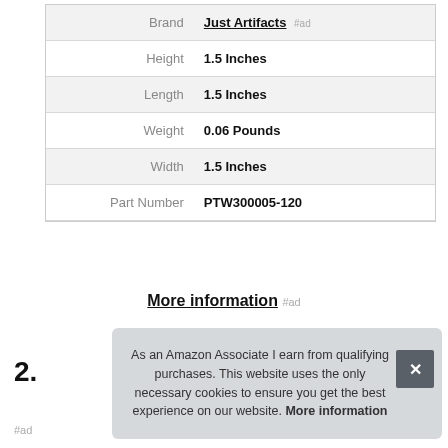| Attribute | Value |
| --- | --- |
| Brand | Just Artifacts #ad |
| Height | 1.5 Inches |
| Length | 1.5 Inches |
| Weight | 0.06 Pounds |
| Width | 1.5 Inches |
| Part Number | PTW300005-120 |
More information #ad
2.
As an Amazon Associate I earn from qualifying purchases. This website uses the only necessary cookies to ensure you get the best experience on our website. More information
#ad